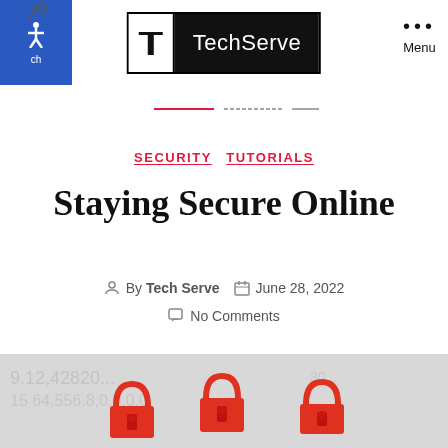[Figure (logo): TechServe logo — white T on black background with TechServe text]
Menu
SECURITY  TUTORIALS
Staying Secure Online
By Tech Serve  June 28, 2022
No Comments
[Figure (photo): Hero image showing numbers/code in background with three red padlock icons]